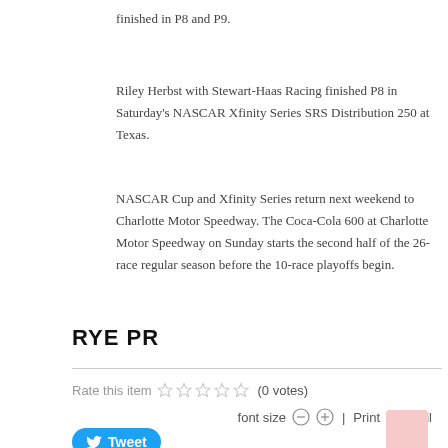finished in P8 and P9.
Riley Herbst with Stewart-Haas Racing finished P8 in Saturday's NASCAR Xfinity Series SRS Distribution 250 at Texas.
NASCAR Cup and Xfinity Series return next weekend to Charlotte Motor Speedway. The Coca-Cola 600 at Charlotte Motor Speedway on Sunday starts the second half of the 26-race regular season before the 10-race playoffs begin.
RYE PR
Rate this item (0 votes)
font size  Print  Email